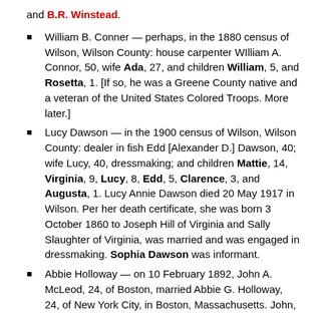and B.R. Winstead.
William B. Conner — perhaps, in the 1880 census of Wilson, Wilson County: house carpenter WIlliam A. Connor, 50, wife Ada, 27, and children William, 5, and Rosetta, 1. [If so, he was a Greene County native and a veteran of the United States Colored Troops. More later.]
Lucy Dawson — in the 1900 census of Wilson, Wilson County: dealer in fish Edd [Alexander D.] Dawson, 40; wife Lucy, 40, dressmaking; and children Mattie, 14, Virginia, 9, Lucy, 8, Edd, 5, Clarence, 3, and Augusta, 1. Lucy Annie Dawson died 20 May 1917 in Wilson. Per her death certificate, she was born 3 October 1860 to Joseph Hill of Virginia and Sally Slaughter of Virginia, was married and was engaged in dressmaking. Sophia Dawson was informant.
Abbie Holloway — on 10 February 1892, John A. McLeod, 24, of Boston, married Abbie G. Holloway, 24, of New York City, in Boston, Massachusetts. John, a waiter, was born in Fayetteville, North Carolina, to John and Ruth McLeod. Abbie, a domestic, was born in Wilson to James and Amanda